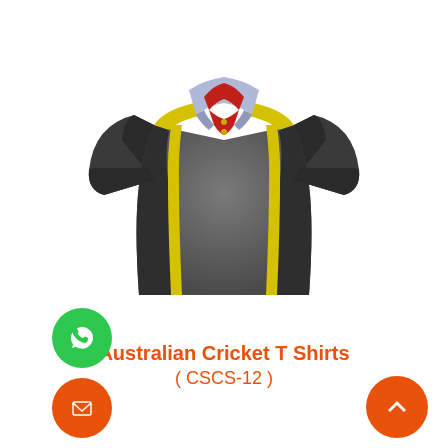[Figure (photo): Cricket polo shirt with dark gray/charcoal body, yellow vertical stripes on front and shoulders, light blue/lavender collar, and red inner collar accent. Short sleeves with dark side panels.]
Australian Cricket T Shirts
( CSCS-12 )
[Figure (other): Green circular WhatsApp icon button]
[Figure (other): Orange circular email/envelope icon button]
[Figure (other): Orange circular scroll-to-top arrow button]
Enquire Now